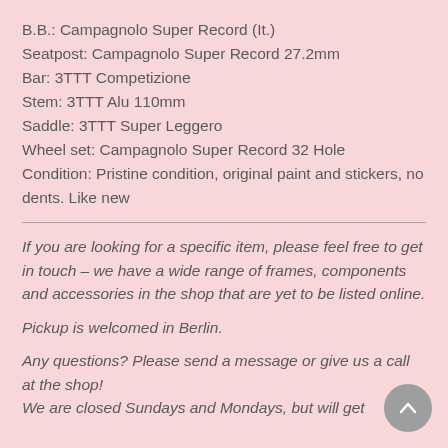B.B.: Campagnolo Super Record (It.)
Seatpost: Campagnolo Super Record 27.2mm
Bar: 3TTT Competizione
Stem: 3TTT Alu 110mm
Saddle: 3TTT Super Leggero
Wheel set: Campagnolo Super Record 32 Hole
Condition: Pristine condition, original paint and stickers, no dents. Like new
If you are looking for a specific item, please feel free to get in touch – we have a wide range of frames, components and accessories in the shop that are yet to be listed online.
Pickup is welcomed in Berlin.
Any questions? Please send a message or give us a call at the shop!
We are closed Sundays and Mondays, but will get